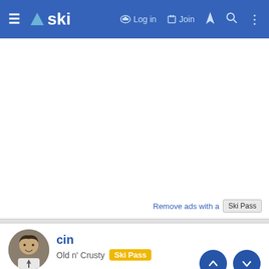ski — Log in  Join
[Figure (other): Advertisement area (blank white space)]
Remove ads with a Ski Pass
cin
Old n' Crusty  Ski Pass
Feb 27, 2011